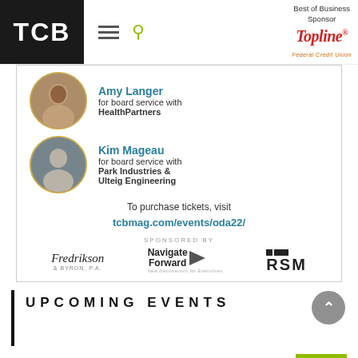[Figure (logo): TCB logo in black square with white text]
Best of Business Sponsor
[Figure (logo): TopLine Federal Credit Union logo in red italic script]
[Figure (photo): Advertisement card showing Amy Langer headshot and Kim Mageau headshot with event ticket purchase information and sponsor logos]
Amy Langer
for board service with
HealthPartners
Kim Mageau
for board service with
Park Industries &
Ulteig Engineering
To purchase tickets, visit
tcbmag.com/events/oda22/
SPONSORED BY
[Figure (logo): Fredrikson & Byron law firm logo]
[Figure (logo): Navigate Forward logo with arrow]
[Figure (logo): RSM logo with squares]
UPCOMING EVENTS
Minnesota Family Business Awards
OCT